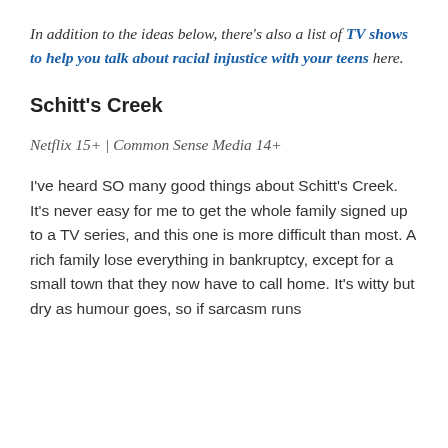In addition to the ideas below, there's also a list of TV shows to help you talk about racial injustice with your teens here.
Schitt's Creek
Netflix 15+ | Common Sense Media 14+
I've heard SO many good things about Schitt's Creek. It's never easy for me to get the whole family signed up to a TV series, and this one is more difficult than most. A rich family lose everything in bankruptcy, except for a small town that they now have to call home. It's witty but dry as humour goes, so if sarcasm runs